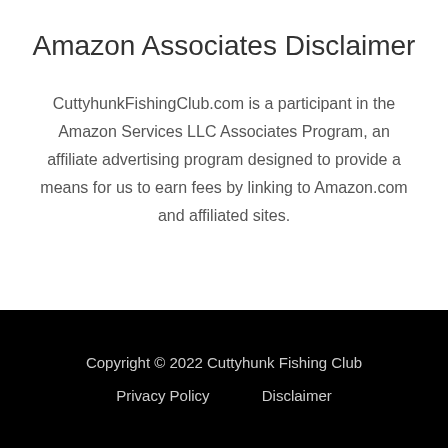Amazon Associates Disclaimer
CuttyhunkFishingClub.com is a participant in the Amazon Services LLC Associates Program, an affiliate advertising program designed to provide a means for us to earn fees by linking to Amazon.com and affiliated sites.
Copyright © 2022 Cuttyhunk Fishing Club
Privacy Policy    Disclaimer